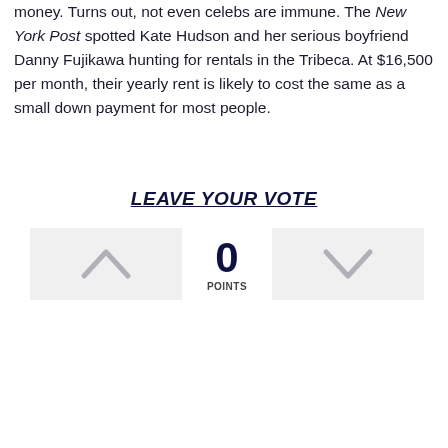money. Turns out, not even celebs are immune. The New York Post spotted Kate Hudson and her serious boyfriend Danny Fujikawa hunting for rentals in the Tribeca. At $16,500 per month, their yearly rent is likely to cost the same as a small down payment for most people.
LEAVE YOUR VOTE
[Figure (infographic): Vote widget with upvote button (chevron up), score of 0 POINTS in center, and downvote button (chevron down)]